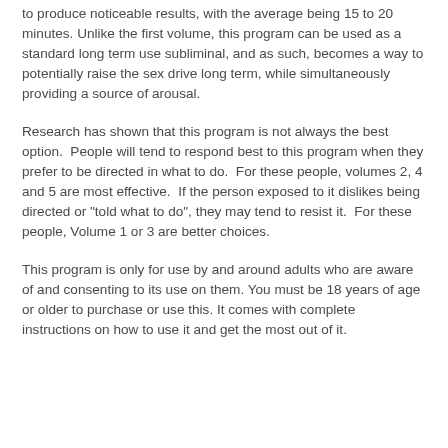to produce noticeable results, with the average being 15 to 20 minutes. Unlike the first volume, this program can be used as a standard long term use subliminal, and as such, becomes a way to potentially raise the sex drive long term, while simultaneously providing a source of arousal.
Research has shown that this program is not always the best option.  People will tend to respond best to this program when they prefer to be directed in what to do.  For these people, volumes 2, 4 and 5 are most effective.  If the person exposed to it dislikes being directed or "told what to do", they may tend to resist it.  For these people, Volume 1 or 3 are better choices.
This program is only for use by and around adults who are aware of and consenting to its use on them. You must be 18 years of age or older to purchase or use this. It comes with complete instructions on how to use it and get the most out of it.